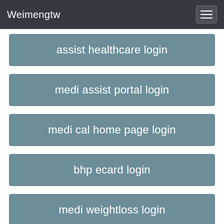Weimengtw
assist healthcare login
medi assist portal login
medi cal home page login
bhp ecard login
medi weightloss login